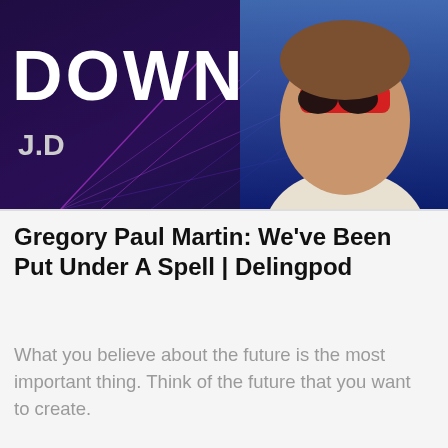[Figure (photo): Dark purple/blue banner with geometric line design and the word DOWN in large white bold text, with J.D subtitle, and a man wearing red sunglasses visible on the right side]
Gregory Paul Martin: We’ve Been Put Under A Spell | Delingpod
What you believe about the future is the most important thing. Think of the future that you want to create.
News
[Figure (photo): Red background with black and white photo of a person with curly hair, and horizontal white lines on the right side, with a dark/light mode toggle button]